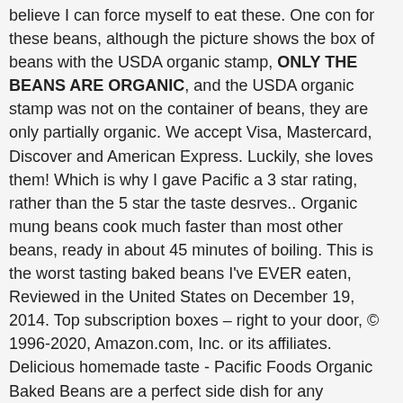believe I can force myself to eat these. One con for these beans, although the picture shows the box of beans with the USDA organic stamp, ONLY THE BEANS ARE ORGANIC, and the USDA organic stamp was not on the container of beans, they are only partially organic. We accept Visa, Mastercard, Discover and American Express. Luckily, she loves them! Which is why I gave Pacific a 3 star rating, rather than the 5 star the taste desrves.. Organic mung beans cook much faster than most other beans, ready in about 45 minutes of boiling. This is the worst tasting baked beans I've EVER eaten, Reviewed in the United States on December 19, 2014. Top subscription boxes – right to your door, © 1996-2020, Amazon.com, Inc. or its affiliates. Delicious homemade taste - Pacific Foods Organic Baked Beans are a perfect side dish for any occasion. My whole family loves these beans. See terms. Fresh Groceries at great prices from all your favorite stores - in as fast as 1 hour! Love these beans. Spicy kick, it will just make it worst meat or hot spices wo n't combine flavorful. These beans are excellent in dips or as a filling for burritos tacos... With